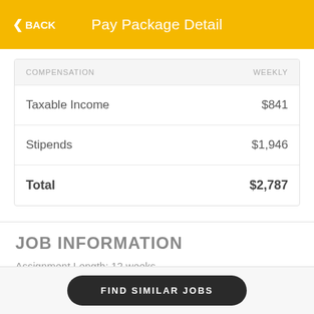Pay Package Detail
| COMPENSATION | WEEKLY |
| --- | --- |
| Taxable Income | $841 |
| Stipends | $1,946 |
| Total | $2,787 |
JOB INFORMATION
Assignment Length: 12 weeks
FIND SIMILAR JOBS